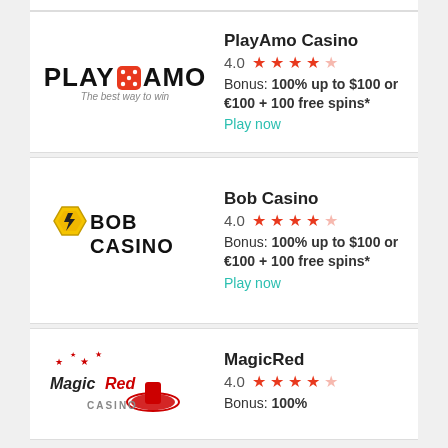[Figure (logo): PlayAmo Casino logo with dice]
PlayAmo Casino
4.0 ★★★★☆
Bonus: 100% up to $100 or €100 + 100 free spins*
Play now
[Figure (logo): Bob Casino logo with lightning bolt hexagon shield]
Bob Casino
4.0 ★★★★☆
Bonus: 100% up to $100 or €100 + 100 free spins*
Play now
[Figure (logo): MagicRed Casino logo with top hat and stars]
MagicRed
4.0 ★★★★☆
Bonus: 100%